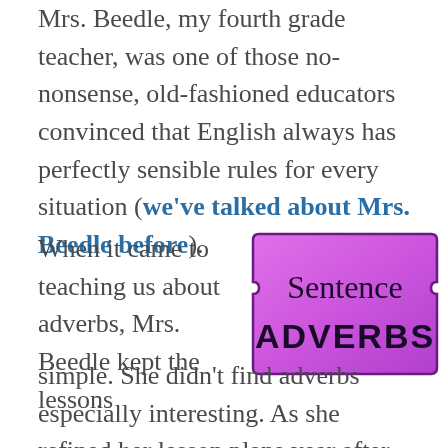Mrs. Beedle, my fourth grade teacher, was one of those no-nonsense, old-fashioned educators convinced that English always has perfectly sensible rules for every situation (we've talked about Mrs. Beedle before).
When it came to teaching us about adverbs, Mrs. Beedle kept the lessons simple. She didn't find adverbs especially interesting. As she refined her lesson plans year after year, she kept trimming back the
[Figure (illustration): A purple ticket-shaped label with rounded corners and decorative notches, containing the text 'Sentence ADVERBS' in a stylized font on a purple gradient background.]